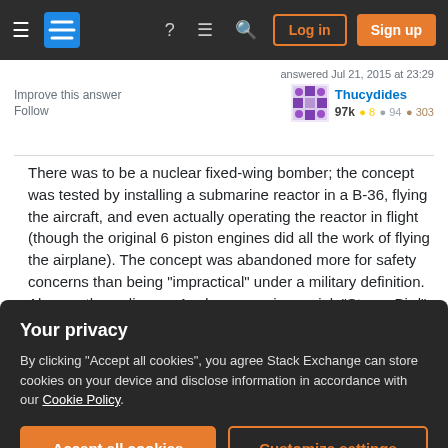Stack Exchange navigation bar with Log in and Sign up buttons
answered Jul 21, 2015 at 23:29
Improve this answer
Follow
Thucydides
97k  ● 8  ● 94  ● 303
There was to be a nuclear fixed-wing bomber; the concept was tested by installing a submarine reactor in a B-36, flying the aircraft, and even actually operating the reactor in flight (though the original 6 piston engines did all the work of flying the airplane). The concept was abandoned more for safety concerns than being "impractical" under a military definition. Also worth reading an Analog magazine serial, "Steam Bird" from the 1984 (Hilbert Schenck, also available on Amazon) for why this doesn't work well even in fixed
Your privacy
By clicking "Accept all cookies", you agree Stack Exchange can store cookies on your device and disclose information in accordance with our Cookie Policy.
@Juantop No argument. The end product was to have been able to stay aloft for months or years at a time